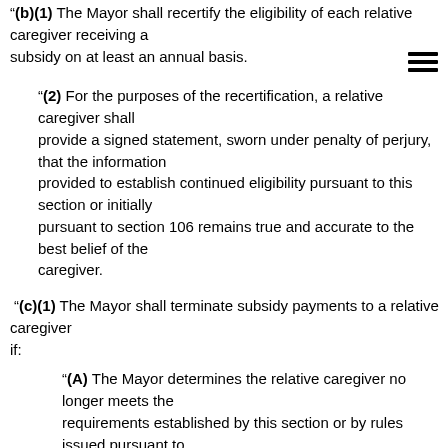"(b)(1) The Mayor shall recertify the eligibility of each relative caregiver receiving a subsidy on at least an annual basis.
"(2) For the purposes of the recertification, a relative caregiver shall provide a signed statement, sworn under penalty of perjury, that the information provided to establish continued eligibility pursuant to this section or initially pursuant to section 106 remains true and accurate to the best belief of the caregiver.
"(c)(1) The Mayor shall terminate subsidy payments to a relative caregiver if:
"(A) The Mayor determines the relative caregiver no longer meets the requirements established by this section or by rules issued pursuant to
"(B) There is a substantiated finding of child abuse or neglect by the caregiver resulting in the removal of the child from the relative caregiver's
"(2) A relative caregiver whose subsidy payments are terminated due to removal of the child from the relative caregiver's home may reapply after the child has been returned to the relative caregiver's home.